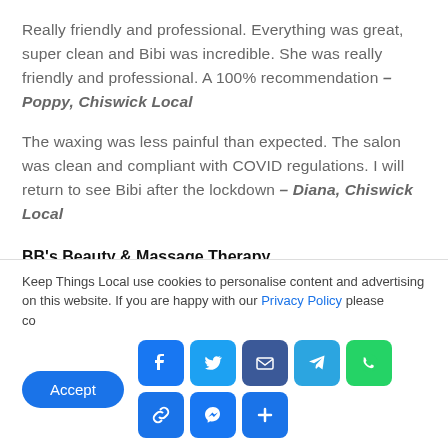Really friendly and professional. Everything was great, super clean and Bibi was incredible. She was really friendly and professional. A 100% recommendation – Poppy, Chiswick Local
The waxing was less painful than expected. The salon was clean and compliant with COVID regulations. I will return to see Bibi after the lockdown – Diana, Chiswick Local
BB's Beauty & Massage Therapy
Chiswick
Keep Things Local use cookies to personalise content and advertising on this website. If you are happy with our Privacy Policy please continue to use this website.